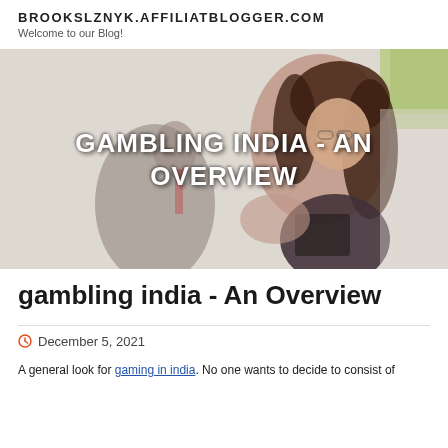BROOKSLZNYK.AFFILIATBLOGGER.COM
Welcome to our Blog!
[Figure (photo): Hero image of a professional woman with brown hair smiling, with blurred people in background. Text overlay reads: GAMBLING INDIA - AN OVERVIEW]
gambling india - An Overview
December 5, 2021
A general look for gaming in india. No one wants to decide to consist of...